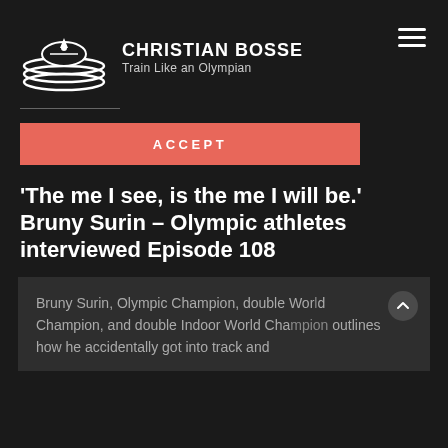CHRISTIAN BOSSE Train Like an Olympian
ACCEPT
'The me I see, is the me I will be.' Bruny Surin – Olympic athletes interviewed Episode 108
Bruny Surin, Olympic Champion, double World Champion, and double Indoor World Champion outlines how he accidentally got into track and